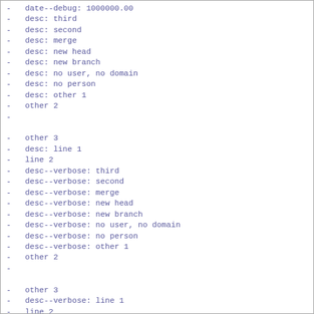-   date--debug: 1000000.00
-   desc: third
-   desc: second
-   desc: merge
-   desc: new head
-   desc: new branch
-   desc: no user, no domain
-   desc: no person
-   desc: other 1
-   other 2
-

-   other 3
-   desc: line 1
-   line 2
-   desc--verbose: third
-   desc--verbose: second
-   desc--verbose: merge
-   desc--verbose: new head
-   desc--verbose: new branch
-   desc--verbose: no user, no domain
-   desc--verbose: no person
-   desc--verbose: other 1
-   other 2
-

-   other 3
-   desc--verbose: line 1
-   line 2
-   desc--debug: third
-   desc--debug: second
-   desc--debug: merge
-   desc--debug: new head
-   desc--debug: new branch